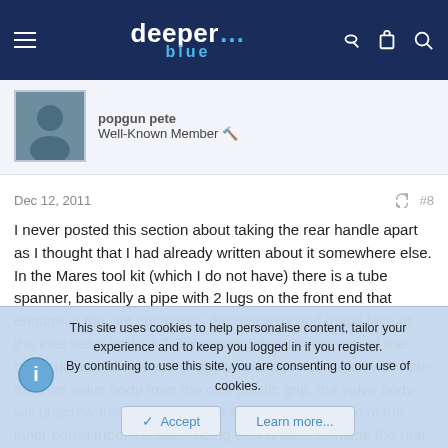deeper blue — website header with navigation icons
popgun pete
Well-Known Member
Dec 12, 2011  #8
I never posted this section about taking the rear handle apart as I thought that I had already written about it somewhere else. In the Mares tool kit (which I do not have) there is a tube spanner, basically a pipe with 2 lugs on the front end that engage in the slot cut across the rear exposed metal face of the inlet valve body. A T-bar passing through the rear of the tube spanner allows you to apply twisting force which will undo the inlet valve body from the rear plastic grip, the valve body will unscrew from the internal threads in the rear end of the inner barrel tube, the latter being only a push fit inside the rear plastic grip moulding. Once you have the inlet
This site uses cookies to help personalise content, tailor your experience and to keep you logged in if you register.
By continuing to use this site, you are consenting to our use of cookies.
Accept  Learn more...